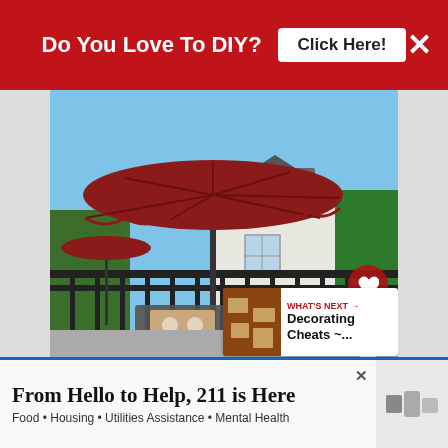[Figure (screenshot): Red banner advertisement at top: 'Do You Love To DIY?' with 'Click Here!' button and X close button, on a crimson red background]
[Figure (photo): Outdoor patio scene with a large dark red/burgundy patio umbrella mounted on a black pole on a balcony with black iron railing. Background shows a house roof, green trees and shrubs. Two dark gray lounge chairs with patterned cushions visible below. A smaller red umbrella on the left side. Heart and share UI icons overlaid on the right. 'What's Next' thumbnail box in bottom right corner showing 'Decorating Cheats ~...']
[Figure (screenshot): Bottom advertisement banner: 'From Hello to Help, 211 is Here' with subtext 'Food • Housing • Utilities Assistance • Mental Health' on white background with blue top border. Weather widget on right side.]